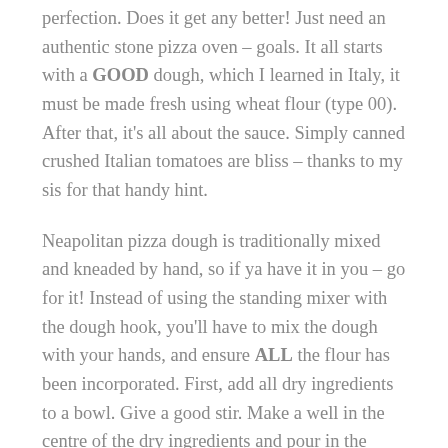perfection. Does it get any better! Just need an authentic stone pizza oven – goals. It all starts with a GOOD dough, which I learned in Italy, it must be made fresh using wheat flour (type 00). After that, it's all about the sauce. Simply canned crushed Italian tomatoes are bliss – thanks to my sis for that handy hint.
Neapolitan pizza dough is traditionally mixed and kneaded by hand, so if ya have it in you – go for it! Instead of using the standing mixer with the dough hook, you'll have to mix the dough with your hands, and ensure ALL the flour has been incorporated. First, add all dry ingredients to a bowl. Give a good stir. Make a well in the centre of the dry ingredients and pour in the warm water. Now use your hands to mix all the ingredients until combined – adding any needed flour